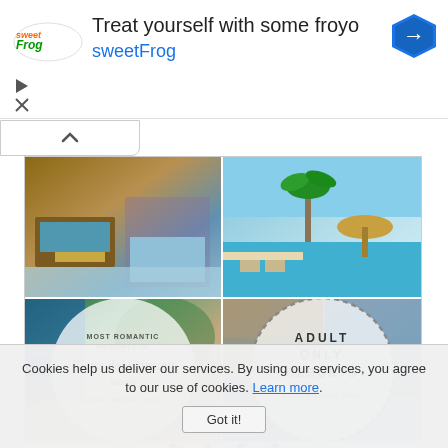[Figure (other): SweetFrog frozen yogurt advertisement banner with logo, text 'Treat yourself with some froyo', 'sweetFrog' subtitle, and navigation arrow icon]
[Figure (photo): Collage of resort/hotel photos: top-left shows luxury resort room interior, top-right shows beach/pool with palm trees and ocean view, bottom-left circle overlay reads 'Most Romantic Resorts in Playa del Carmen - Luxury Resort Bliss', bottom-right dotted circle reads 'Adult Only Resorts - Luxury Resort Bliss']
Cookies help us deliver our services. By using our services, you agree to our use of cookies. Learn more.
Got it!